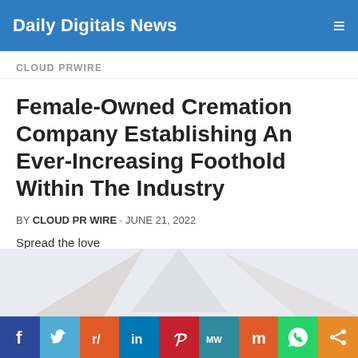Daily Digitals News
CLOUD PRWIRE
Female-Owned Cremation Company Establishing An Ever-Increasing Foothold Within The Industry
BY CLOUD PR WIRE · JUNE 21, 2022
Spread the love
[Figure (infographic): Row of social media share buttons: Facebook, Twitter, Reddit, LinkedIn, Pinterest, MeWe, Mix, WhatsApp, Share]
[Figure (infographic): Partial image of an article photo visible at bottom of page, with colorful social share bar at very bottom showing: f, Twitter, Reddit, in, Pinterest, MW, Mix, WhatsApp, share icons]